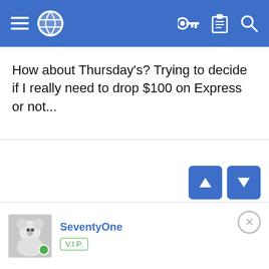Navigation bar with menu, globe icon, key icon, clipboard icon, search icon
How about Thursday's? Trying to decide if I really need to drop $100 on Express or not...
[Figure (screenshot): Two blue navigation arrow buttons (up and down) in bottom right area]
SeventyOne
V.I.P.